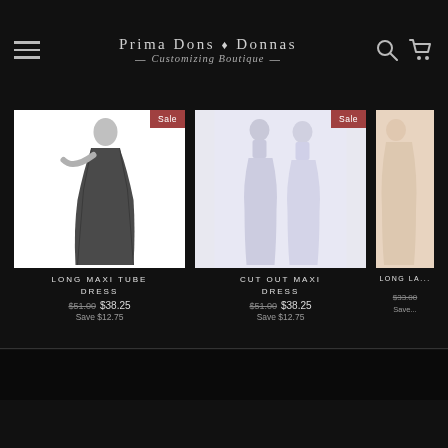[Figure (logo): Prima Dons & Donnas Customizing Boutique logo with hamburger menu, search and cart icons on black header]
[Figure (photo): Long Maxi Tube Dress product image showing a woman in a long black dress with Sale badge]
LONG MAXI TUBE DRESS
$51.00  $38.25  Save $12.75
[Figure (photo): Cut Out Maxi Dress product image showing white/light dresses with Sale badge]
CUT OUT MAXI DRESS
$51.00  $38.25  Save $12.75
[Figure (photo): Long Lace Dress product image partially visible on right edge with price $33.00]